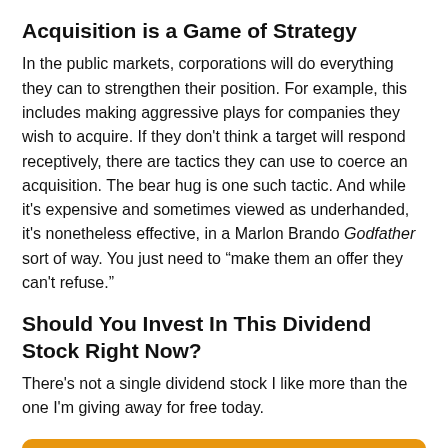Acquisition is a Game of Strategy
In the public markets, corporations will do everything they can to strengthen their position. For example, this includes making aggressive plays for companies they wish to acquire. If they don't think a target will respond receptively, there are tactics they can use to coerce an acquisition. The bear hug is one such tactic. And while it's expensive and sometimes viewed as underhanded, it's nonetheless effective, in a Marlon Brando Godfather sort of way. You just need to “make them an offer they can't refuse.”
Should You Invest In This Dividend Stock Right Now?
There's not a single dividend stock I like more than the one I'm giving away for free today.
Subscribe